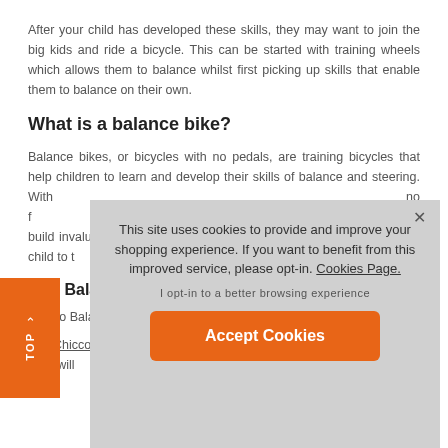After your child has developed these skills, they may want to join the big kids and ride a bicycle. This can be started with training wheels which allows them to balance whilst first picking up skills that enable them to balance on their own.
What is a balance bike?
Balance bikes, or bicycles with no pedals, are training bicycles that help children to learn and develop their skills of balance and steering. With no f... help to build invalu... bikes are a replace... help your child to t... mple of this is th...
icco Balance...
Chicco Balance Bike...
The Chicco Balance... will teach your little... will...
This site uses cookies to provide and improve your shopping experience. If you want to benefit from this improved service, please opt-in. Cookies Page.

I opt-in to a better browsing experience

Accept Cookies